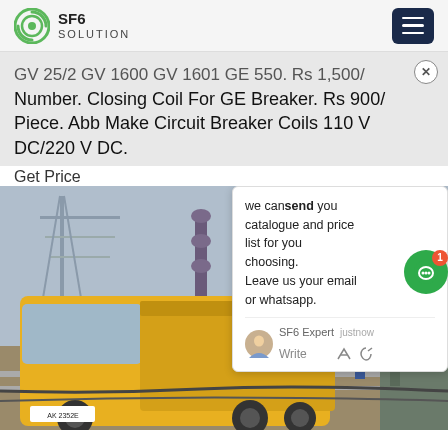SF6 SOLUTION
GV 25/2 GV 1600 GV 1601 GE 550. Rs 1,500/ Number. Closing Coil For GE Breaker. Rs 900/ Piece. Abb Make Circuit Breaker Coils 110 V DC/220 V DC.
Get Price
[Figure (photo): Yellow service truck parked near high-voltage electrical substation with transmission towers and insulators in background. Chat popup overlay visible on right side with message: 'we can send you catalogue and price list for you choosing. Leave us your email or whatsapp.' SF6 Expert, justnow. Write.]